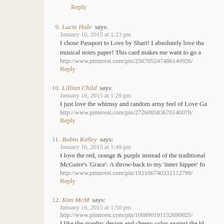Reply
9. Lucie Hale says:
January 16, 2015 at 1:23 pm
I chose Passport to Love by Shari! I absolutely love that musical notes paper! This card makes me want to go a...
http://www.pinterest.com/pin/256705247486140926/
Reply
10. Lillian Child says:
January 16, 2015 at 1:29 pm
I just love the whimsy and random artsy feel of Love Ga...
http://www.pinterest.com/pin/272608583670140078/
Reply
11. Robin Kelley says:
January 16, 2015 at 1:49 pm
I love the red, orange & purple instead of the traditional... McGuire's 'Grace'. A throw-back to my 'inner hippee' fo...
http://www.pinterest.com/pin/192106740331512799/
Reply
12. Kim McM says:
January 16, 2015 at 1:50 pm
http://www.pinterest.com/pin/106890191132690925/
I like the graphic design and cheery color against the bl...